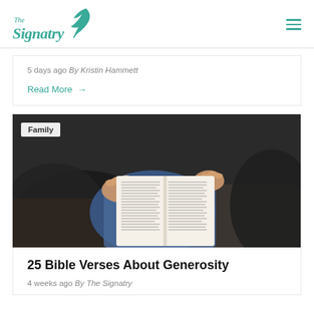[Figure (logo): The Signatry logo with teal text and feather quill icon]
5 days ago By Kristin Hammett
Read More →
[Figure (photo): Two people sitting together reading an open Bible, hands visible holding the pages, blurred foreground]
Family
25 Bible Verses About Generosity
4 weeks ago By The Signatry